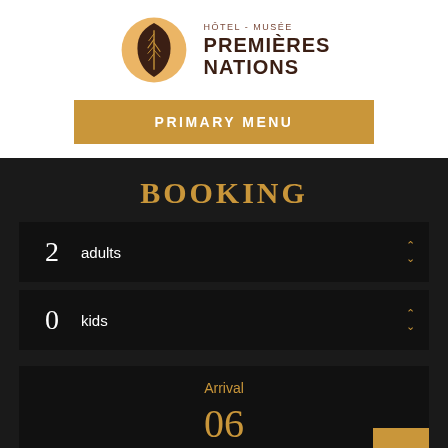[Figure (logo): Hôtel-Musée Premières Nations logo with a leaf/feather emblem in orange/brown tones]
HÔTEL - MUSÉE PREMIÈRES NATIONS
PRIMARY MENU
BOOKING
2  adults
0  kids
Arrival
06
September 2022